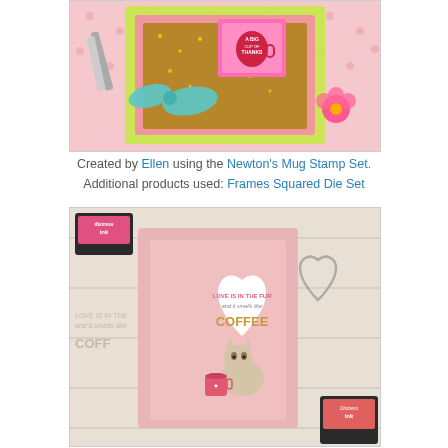[Figure (photo): Craft card with pink and lime green scalloped frames, brown glitter background, teal bow, pink flower, and a pink mug stamp saying 'A Big Cup of Thanks', surrounded by gold sequins on a pink polka dot background.]
Created by Ellen using the Newton's Mug Stamp Set. Additional products used: Frames Squared Die Set
[Figure (photo): Craft card resembling a postage stamp with pink scalloped edges, featuring a white heart and a Siamese cat with coffee mugs, text reads 'LOVE IS IN THE FUR and it smells like COFFEE' in gold lettering. Distress Ink pads and stamped images on wood background.]